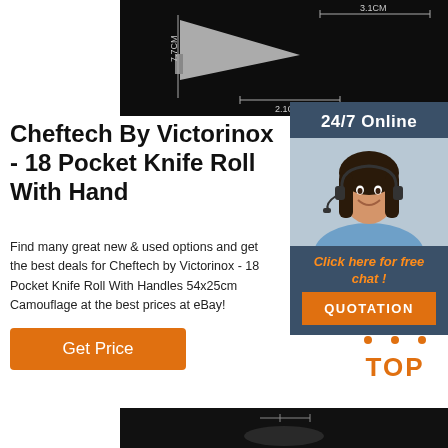[Figure (photo): Product image of knife/knife roll on dark background with measurement annotations: 7.7cm, 3.1cm, 2.1cm]
[Figure (photo): 24/7 Online support sidebar with photo of a woman with headset smiling, Click here for free chat, QUOTATION button]
Cheftech By Victorinox - 18 Pocket Knife Roll With Hand
Find many great new & used options and get the best deals for Cheftech by Victorinox - 18 Pocket Knife Roll With Handles 54x25cm Camouflage at the best prices at eBay!
[Figure (other): Get Price orange button]
[Figure (logo): TOP icon with orange dots forming triangle above orange TOP text]
[Figure (photo): Bottom strip of product image on dark background]